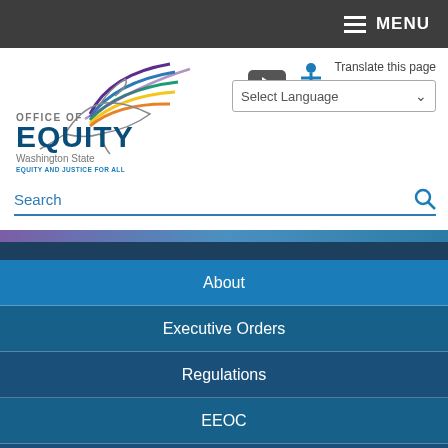MENU
[Figure (logo): Office of Equity Washington State - stylized bird/wings logo with colorful feathers, text reads OFFICE OF EQUITY Washington State EQUITY and JUSTICE for ALL]
Translate this page
Select Language
Search
About
Executive Orders
Regulations
EEOC
Statutes
US PLUS